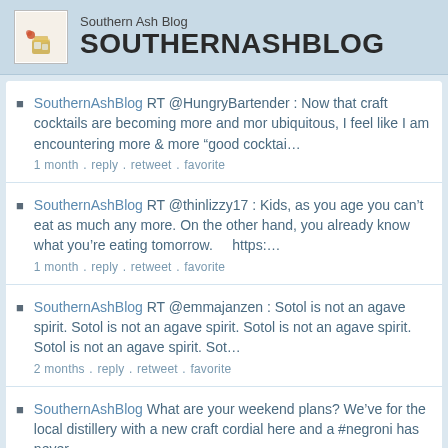Southern Ash Blog SOUTHERNASHBLOG
SouthernAshBlog RT @HungryBartender : Now that craft cocktails are becoming more and mor ubiquitous, I feel like I am encountering more & more “good cocktai… 1 month . reply . retweet . favorite
SouthernAshBlog RT @thinlizzy17 : Kids, as you age you can’t eat as much any more. On the other hand, you already know what you’re eating tomorrow.     https:… 1 month . reply . retweet . favorite
SouthernAshBlog RT @emmajanzen : Sotol is not an agave spirit. Sotol is not an agave spirit. Sotol is not an agave spirit. Sotol is not an agave spirit. Sot… 2 months . reply . retweet . favorite
SouthernAshBlog What are your weekend plans? We’ve for the local distillery with a new craft cordial here and a #negroni has never…